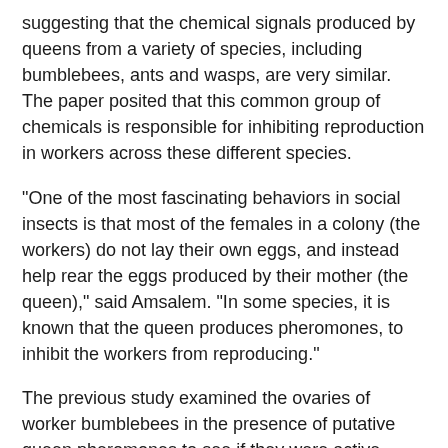suggesting that the chemical signals produced by queens from a variety of species, including bumblebees, ants and wasps, are very similar. The paper posited that this common group of chemicals is responsible for inhibiting reproduction in workers across these different species.
"One of the most fascinating behaviors in social insects is that most of the females in a colony (the workers) do not lay their own eggs, and instead help rear the eggs produced by their mother (the queen)," said Amsalem. "In some species, it is known that the queen produces pheromones, to inhibit the workers from reproducing."
The previous study examined the ovaries of worker bumblebees in the presence of putative queen pheromones to see if they were active -- producing eggs -- inactive, or regressed. Regressed ovaries are those in which the developing eggs have absorbed back into the tissue.
The researchers found that exposure to a putative queen pheromone, c25, caused increased levels of ovary regression, but